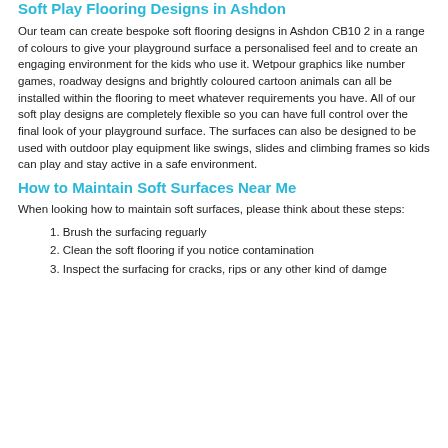Soft Play Flooring Designs in Ashdon
Our team can create bespoke soft flooring designs in Ashdon CB10 2 in a range of colours to give your playground surface a personalised feel and to create an engaging environment for the kids who use it. Wetpour graphics like number games, roadway designs and brightly coloured cartoon animals can all be installed within the flooring to meet whatever requirements you have. All of our soft play designs are completely flexible so you can have full control over the final look of your playground surface. The surfaces can also be designed to be used with outdoor play equipment like swings, slides and climbing frames so kids can play and stay active in a safe environment.
How to Maintain Soft Surfaces Near Me
When looking how to maintain soft surfaces, please think about these steps:
Brush the surfacing reguarly
Clean the soft flooring if you notice contamination
Inspect the surfacing for cracks, rips or any other kind of damge